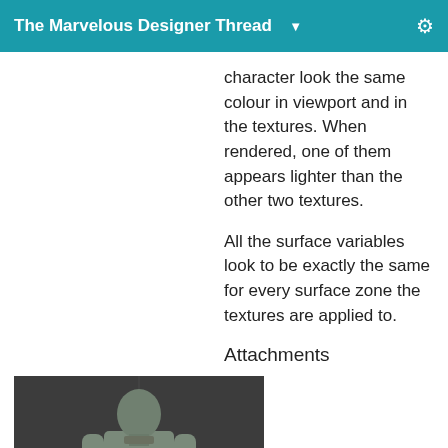The Marvelous Designer Thread ▼
character look the same colour in viewport and in the textures. When rendered, one of them appears lighter than the other two textures.
All the surface variables look to be exactly the same for every surface zone the textures are applied to.
Attachments
[Figure (photo): A 3D rendered character model shown from the front, wearing military-style clothing with red gloves, holding something at chest height, on a grey grid background.]